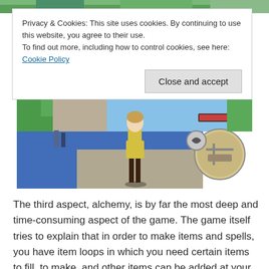[Figure (screenshot): Top strip of a game screenshot showing green outdoor environment]
Privacy & Cookies: This site uses cookies. By continuing to use this website, you agree to their use.
To find out more, including how to control cookies, see here: Cookie Policy
Close and accept
[Figure (screenshot): Game screenshot showing a female character from behind standing on a cobblestone plaza with blue tiles, with a minimap in the lower right corner]
The third aspect, alchemy, is by far the most deep and time-consuming aspect of the game. The game itself tries to explain that in order to make items and spells, you have item loops in which you need certain items to fill, to make, and other items can be added at your choice to then buff these spells in various ways. For example, you could buff the manufacture of a bomb to have, say, a fire element to also burn foes, or a bomb with ice elements to freeze them. The choice